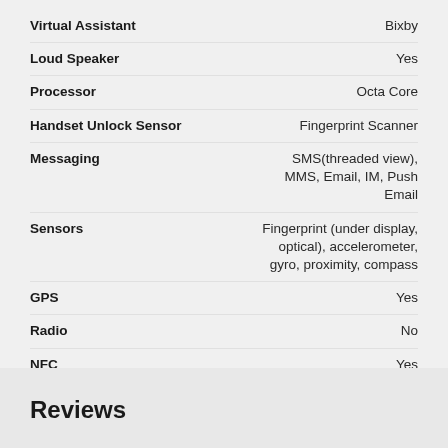| Feature | Value |
| --- | --- |
| Virtual Assistant | Bixby |
| Loud Speaker | Yes |
| Processor | Octa Core |
| Handset Unlock Sensor | Fingerprint Scanner |
| Messaging | SMS(threaded view), MMS, Email, IM, Push Email |
| Sensors | Fingerprint (under display, optical), accelerometer, gyro, proximity, compass |
| GPS | Yes |
| Radio | No |
| NFC | Yes |
| Weight | 0.206000 |
Reviews